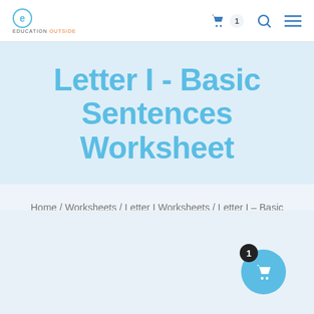EDUCATION OUTSIDE — navigation header with cart, search, menu icons
Letter I - Basic Sentences Worksheet
Home / Worksheets / Letter I Worksheets / Letter I – Basic Sentences Worksheet
[Figure (other): Floating cyan circular cart button with badge showing 1]